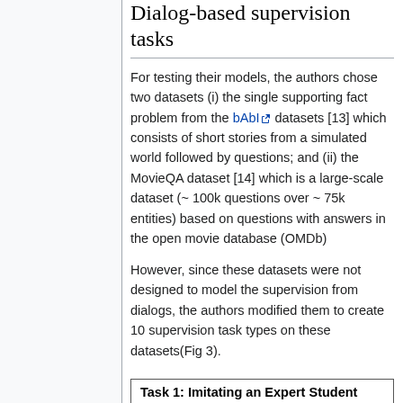Dialog-based supervision tasks
For testing their models, the authors chose two datasets (i) the single supporting fact problem from the bAbI datasets [13] which consists of short stories from a simulated world followed by questions; and (ii) the MovieQA dataset [14] which is a large-scale dataset (~ 100k questions over ~ 75k entities) based on questions with answers in the open movie database (OMDb)
However, since these datasets were not designed to model the supervision from dialogs, the authors modified them to create 10 supervision task types on these datasets(Fig 3).
Task 1: Imitating an Expert Student